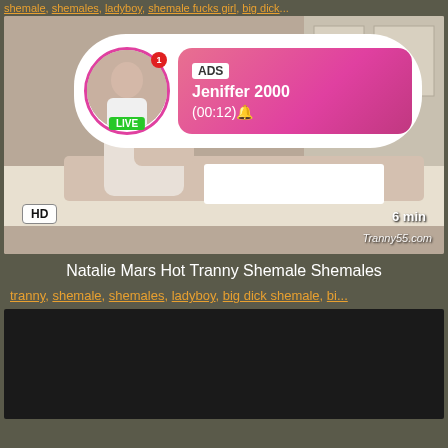shemale, shemales, ladyboy, shemale fucks girl, big dick...
[Figure (screenshot): Video thumbnail showing massage scene with HD badge, 6 min duration, Tranny55.com watermark, and an advertisement overlay with a woman's avatar, LIVE badge, notification badge, ADS label, name Jeniffer 2000, time (00:12)]
Natalie Mars Hot Tranny Shemale Shemales
tranny, shemale, shemales, ladyboy, big dick shemale, bi...
[Figure (screenshot): Dark/black video player area at the bottom of the page]